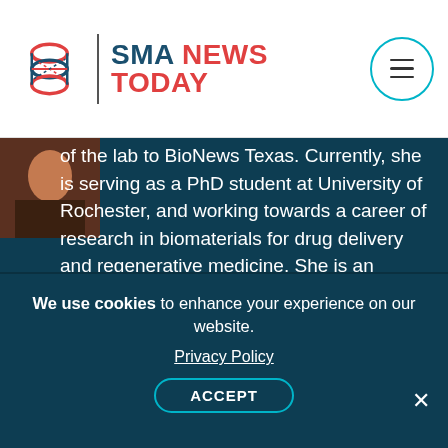SMA NEWS TODAY
[Figure (photo): Person photo thumbnail top left of content area]
of the lab to BioNews Texas. Currently, she is serving as a PhD student at University of Rochester, and working towards a career of research in biomaterials for drug delivery and regenerative medicine. She is an integral part of Dr. Danielle Benoit's laboratory, where she is investigating bone-homing therapeutics for osteoporosis treatment.
We use cookies to enhance your experience on our website. Privacy Policy ACCEPT